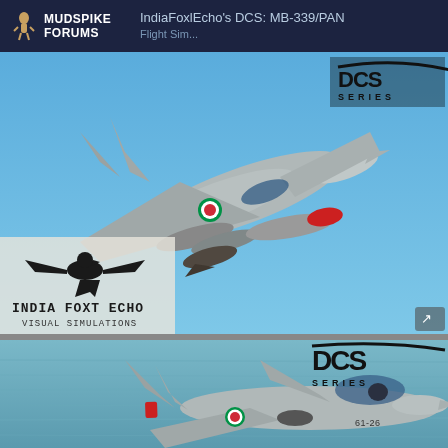MUDSPIKE FORUMS — IndieFoxlEcho's DCS: MB-339/PAN Flight Sim...
[Figure (screenshot): Screenshot of DCS flight simulator showing an MB-339 jet aircraft in flight against a clear blue sky. Aircraft is shown from below-left angle, painted gray with Italian Air Force roundel and markings. Red-tipped missile visible. 'India Foxt Echo Visual Simulations' logo with eagle emblem in lower left. 'DCS SERIES' logo in upper right corner.]
[Figure (screenshot): Second screenshot of DCS flight simulator showing an MB-339 jet aircraft (serial 61-26) in flight at low altitude over water. Aircraft viewed from the side, gray with Italian markings. 'DCS SERIES' logo with stylized lettering visible in upper right corner.]